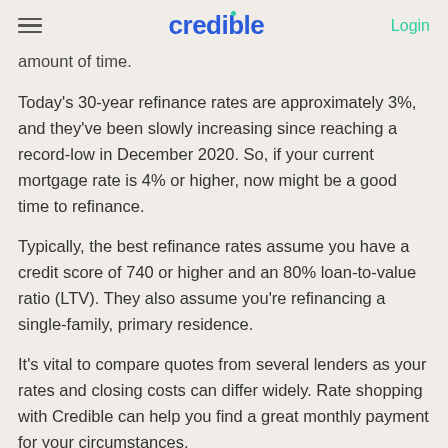credible | Login
amount of time.
Today's 30-year refinance rates are approximately 3%, and they've been slowly increasing since reaching a record-low in December 2020. So, if your current mortgage rate is 4% or higher, now might be a good time to refinance.
Typically, the best refinance rates assume you have a credit score of 740 or higher and an 80% loan-to-value ratio (LTV). They also assume you're refinancing a single-family, primary residence.
It's vital to compare quotes from several lenders as your rates and closing costs can differ widely. Rate shopping with Credible can help you find a great monthly payment for your circumstances.